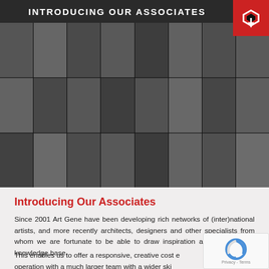INTRODUCING OUR ASSOCIATES
[Figure (photo): Grid of 24 black and white portrait photos of associates arranged in 3 rows of 8 columns]
Introducing Our Associates
Since 2001 Art Gene have been developing rich networks of (inter)national artists, and more recently architects, designers and other specialists from whom we are fortunate to be able to draw inspiration and broaden our knowledge base.
This enables us to offer a responsive, creative cost effective operation with a much larger team with a wider skill set than would ordinarily be possible. Our Associates are typically